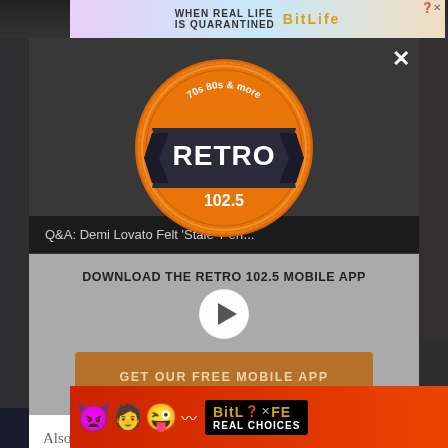[Figure (screenshot): Mobile app popup modal for Retro 102.5 radio station. Contains the Retro 102.5 logo (orange circle with 70s 80s & more text and a dark banner ribbon saying RETRO), a now playing bar showing 'Q&A: Demi Lovato Felt Stale Perf...', a download prompt text 'DOWNLOAD THE RETRO 102.5 MOBILE APP', a play button circle, an orange CTA button 'GET OUR FREE MOBILE APP', an 'Also listen on: amazon alexa' section with Alexa ring icon, and BitLife ad banners at top and bottom. Close X button in top right.]
Q&A: Demi Lovato Felt 'Stale' Perf...
DOWNLOAD THE RETRO 102.5 MOBILE APP
GET OUR FREE MOBILE APP
Also listen on:  amazon alexa